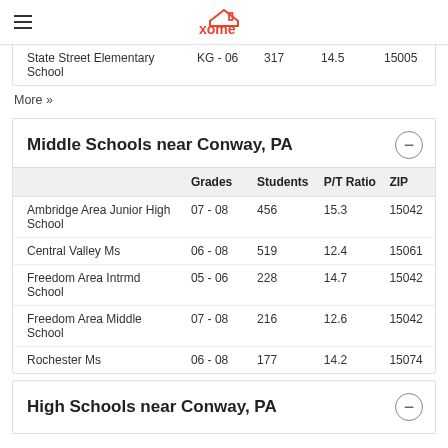xome
|  | Grades | Students | P/T Ratio | ZIP |
| --- | --- | --- | --- | --- |
| State Street Elementary School | KG - 06 | 317 | 14.5 | 15005 |
More »
Middle Schools near Conway, PA
|  | Grades | Students | P/T Ratio | ZIP |
| --- | --- | --- | --- | --- |
| Ambridge Area Junior High School | 07 - 08 | 456 | 15.3 | 15042 |
| Central Valley Ms | 06 - 08 | 519 | 12.4 | 15061 |
| Freedom Area Intrmd School | 05 - 06 | 228 | 14.7 | 15042 |
| Freedom Area Middle School | 07 - 08 | 216 | 12.6 | 15042 |
| Rochester Ms | 06 - 08 | 177 | 14.2 | 15074 |
High Schools near Conway, PA